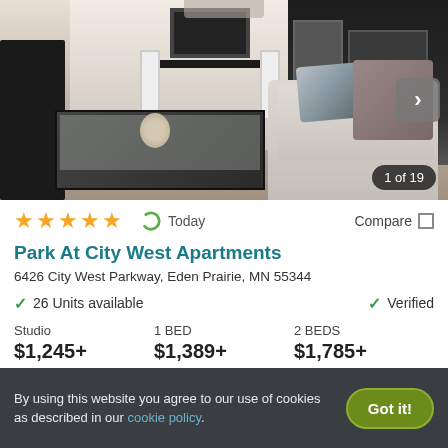[Figure (photo): Interior photo of apartment showing living room with black chair, glass coffee table, tufted sofa with decorative pillow, and kitchen/dining area in background. Shows '1 of 19' image counter badge and next arrow button.]
★★★★★ Today Compare
Park At City West Apartments
6426 City West Parkway, Eden Prairie, MN 55344
✓ 26 Units available   ✓ Verified
| Studio | 1 BED | 2 BEDS |
| --- | --- | --- |
| $1,245+ | $1,389+ | $1,785+ |
By using this website you agree to our use of cookies as described in our cookie policy.